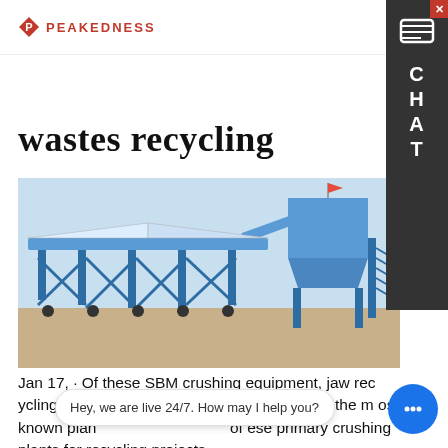PEAKEDNESS
wastes recycling
[Figure (photo): Industrial mobile crushing and recycling plant with blue steel frame, conveyor belts, and hopper tower, photographed outdoors on sandy ground]
Jan 17, · Of these SBM crushing equipment, jaw recycling crusher and impact recycling crusher is the most known plan... of these primary crushing plants for recycling projects